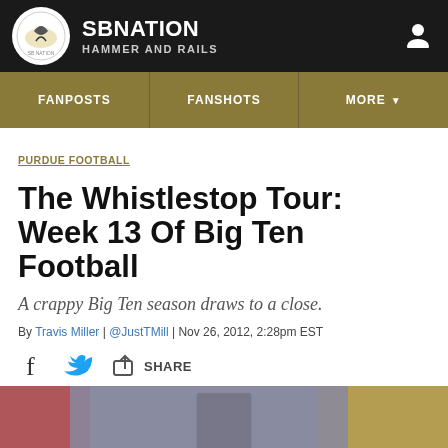SB NATION / HAMMER AND RAILS
FANPOSTS | FANSHOTS | MORE
PURDUE FOOTBALL
The Whistlestop Tour: Week 13 Of Big Ten Football
A crappy Big Ten season draws to a close.
By Travis Miller | @JustTMill | Nov 26, 2012, 2:28pm EST
SHARE
[Figure (photo): Bottom photo strip showing a blurred crowd/field image]